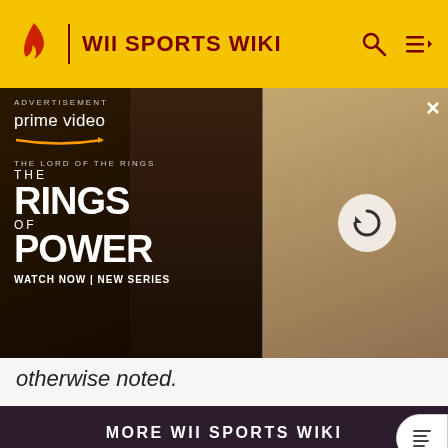WII SPORTS WIKI
[Figure (screenshot): Amazon Prime Video advertisement for 'The Lord of the Rings: The Rings of Power' showing characters in dark fantasy costumes. Text reads: ADVERTISEMENT, prime video, THE LORD OF THE RINGS, THE RINGS OF POWER, WATCH NOW | NEW SERIES. A refresh/reload button overlay is visible on the right half of the ad.]
otherwise noted.
MORE WII SPORTS WIKI
1  CPU
2  Boxing (sport)